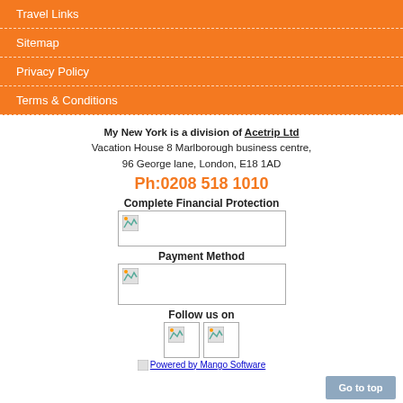Travel Links
Sitemap
Privacy Policy
Terms & Conditions
My New York is a division of Acetrip Ltd
Vacation House 8 Marlborough business centre,
96 George lane, London, E18 1AD
Ph:0208 518 1010
Complete Financial Protection
[Figure (photo): Financial protection badge/image (broken image placeholder)]
Payment Method
[Figure (photo): Payment method logos (broken image placeholder)]
Follow us on
[Figure (photo): Social media icons (two broken image placeholders)]
Powered by Mango Software
Go to top